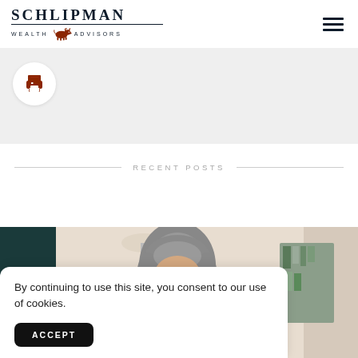SCHLIPMAN WEALTH ADVISORS
[Figure (logo): Schlipman Wealth Advisors logo with bull icon]
[Figure (illustration): Hamburger/menu icon with three horizontal dark lines]
[Figure (illustration): Print icon in a white circle on gray background]
RECENT POSTS
[Figure (photo): Older woman with gray hair and glasses looking at something, in a home setting with bookshelves and lamps]
By continuing to use this site, you consent to our use of cookies.
ACCEPT